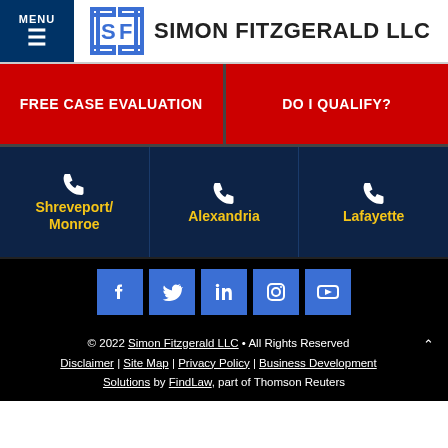MENU | SIMON FITZGERALD LLC
FREE CASE EVALUATION
DO I QUALIFY?
Shreveport/ Monroe | Alexandria | Lafayette
[Figure (screenshot): Social media icons: Facebook, Twitter, LinkedIn, Instagram, YouTube]
© 2022 Simon Fitzgerald LLC • All Rights Reserved Disclaimer | Site Map | Privacy Policy | Business Development Solutions by FindLaw, part of Thomson Reuters